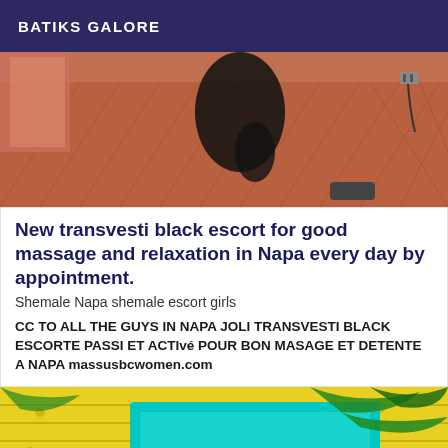BATIKS GALORE
[Figure (photo): Indoor room with reddish-brown wooden herringbone floor, wall visible on left, dark items on floor in center, electrical plug on right wall]
New transvesti black escort for good massage and relaxation in Napa every day by appointment.
Shemale Napa shemale escort girls
CC TO ALL THE GUYS IN NAPA JOLI TRANSVESTI BLACK ESCORTE PASSI ET ACTIvé POUR BON MASAGE ET DETENTE A NAPA massusbcwomen.com
[Figure (photo): Colorful scene with yellow wooden planks, teal/turquoise fabric, palm leaves, bright colors, partial text visible at bottom showing '29c...']